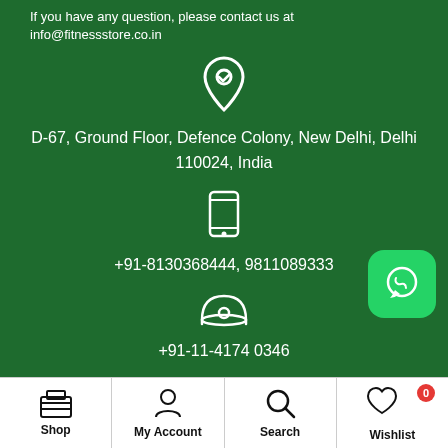If you have any question, please contact us at info@fitnessstore.co.in
[Figure (illustration): Map pin / location icon in white outline]
D-67, Ground Floor, Defence Colony, New Delhi, Delhi 110024, India
[Figure (illustration): Mobile phone icon in white outline]
+91-8130368444, 9811089333
[Figure (illustration): Landline telephone icon in white outline]
+91-11-4174 0346
[Figure (illustration): WhatsApp icon in green rounded square button]
Shop | My Account | Search | Wishlist